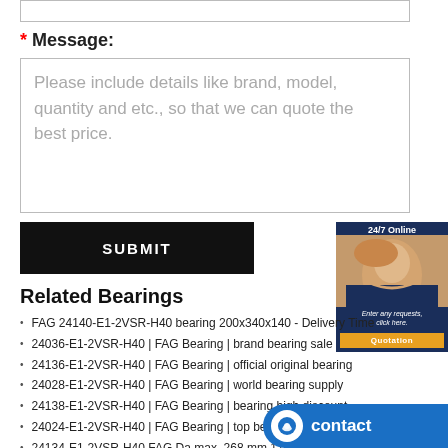* Message:
Please include details like brand, model, quantity and etc., so that we can quote the best price.
SUBMIT
[Figure (photo): 24/7 Online customer service representative with headset, chat widget with Quotation button]
Related Bearings
FAG 24140-E1-2VSR-H40 bearing 200x340x140 - Delivery Time
24036-E1-2VSR-H40 | FAG Bearing | brand bearing sale
24136-E1-2VSR-H40 | FAG Bearing | official original bearing
24028-E1-2VSR-H40 | FAG Bearing | world bearing supply
24138-E1-2VSR-H40 | FAG Bearing | bearing high discount
24024-E1-2VSR-H40 | FAG Bearing | top bearing
24134-E1-2VSR-H40 FAG Da max. 268 mm 170x280x...
24032-E1-2VSR-H40 | FAG Bearing | your bearing...
24128-E1-2VSR-H40 | FAG Bearing | authorized bearing...
24134-E1-2VSR-H40 FAG 128x280x80 ...